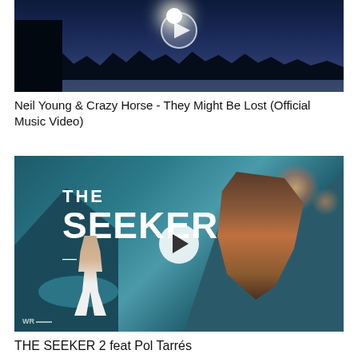[Figure (photo): Night sky scene with moonlight, silhouetted treeline and figure at bottom left, with play button overlay]
Neil Young & Crazy Horse - They Might Be Lost (Official Music Video)
[Figure (photo): THE SEEKER 2 movie/video thumbnail featuring motocross rider, runner in white briefs, mountain lake landscape, with play button overlay]
THE SEEKER 2 feat Pol Tarrés